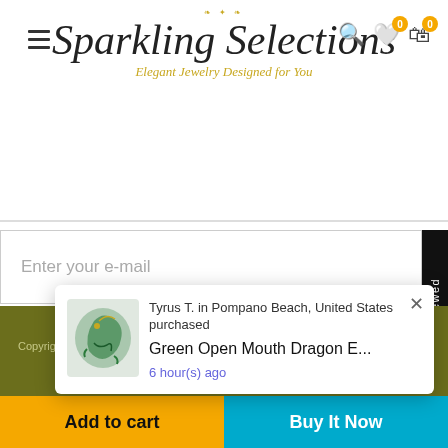[Figure (logo): Sparkling Selections jewelry store logo with ornamental scrollwork and script text 'Elegant Jewelry Designed for You']
Enter your e-mail
Subscribe
Recently Viewed
Copyright © 2020 Sparkling Selections. All Rights Reserved.
Tyrus T. in Pompano Beach, United States purchased
Green Open Mouth Dragon E...
6 hour(s) ago
Add to cart
Buy It Now